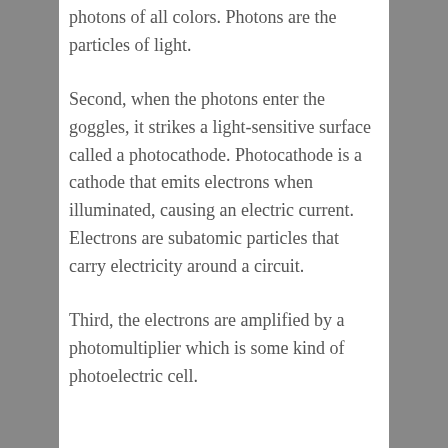photons of all colors. Photons are the particles of light.
Second, when the photons enter the goggles, it strikes a light-sensitive surface called a photocathode. Photocathode is a cathode that emits electrons when illuminated, causing an electric current. Electrons are subatomic particles that carry electricity around a circuit.
Third, the electrons are amplified by a photomultiplier which is some kind of photoelectric cell.